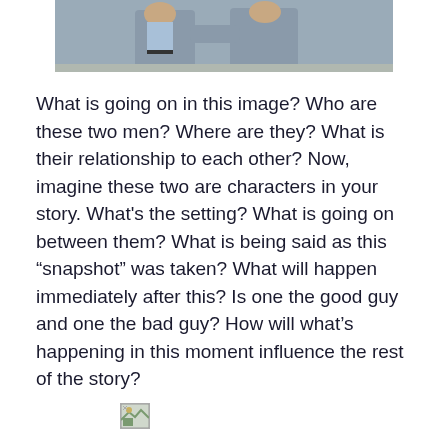[Figure (photo): Two men in grey suits grappling or confronting each other outdoors]
What is going on in this image? Who are these two men? Where are they? What is their relationship to each other? Now, imagine these two are characters in your story. What’s the setting? What is going on between them? What is being said as this “snapshot” was taken? What will happen immediately after this? Is one the good guy and one the bad guy? How will what’s happening in this moment influence the rest of the story?
[Figure (photo): Small broken/placeholder image thumbnail]
What has just been said to her? What is she in the middle of saying? What emotion is she feeling? Where is she?